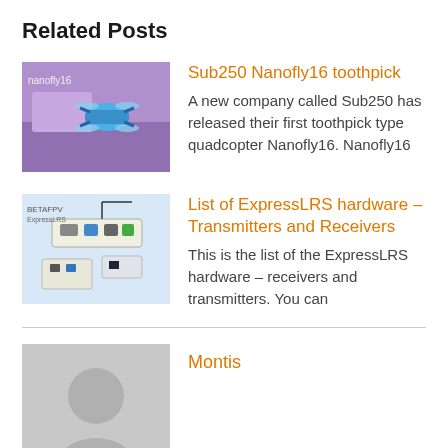Related Posts
Sub250 Nanofly16 toothpick
A new company called Sub250 has released their first toothpick type quadcopter Nanofly16. Nanofly16
List of ExpressLRS hardware – Transmitters and Receivers
This is the list of the ExpressLRS hardware – receivers and transmitters. You can
Montis